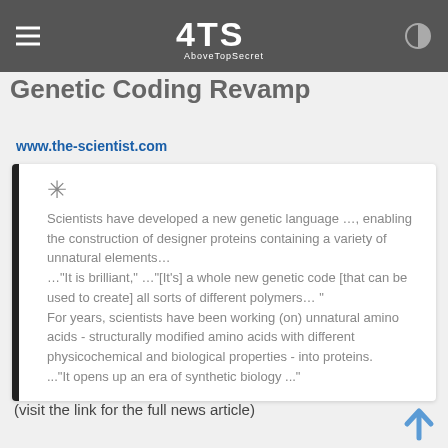4TS AboveTopSecret
Genetic Coding Revamp
www.the-scientist.com
Scientists have developed a new genetic language …, enabling the construction of designer proteins containing a variety of unnatural elements… …"It is brilliant," …"[It's] a whole new genetic code [that can be used to create] all sorts of different polymers… " For years, scientists have been working (on) unnatural amino acids - structurally modified amino acids with different physicochemical and biological properties - into proteins. ..."It opens up an era of synthetic biology ..."
(visit the link for the full news article)